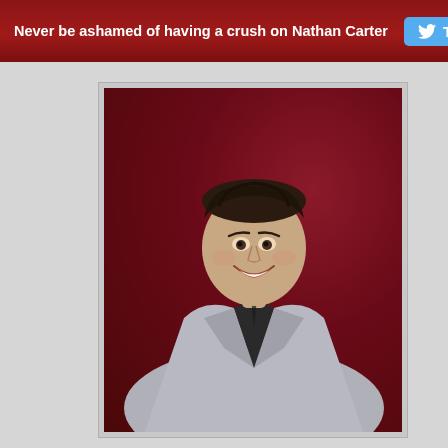Never be ashamed of having a crush on Nathan Carter
[Figure (photo): Professional promotional photo of Nathan Carter, a young man with short dark hair, wearing a silver/grey blazer over a dark shirt, smiling confidently against a dark red/maroon background.]